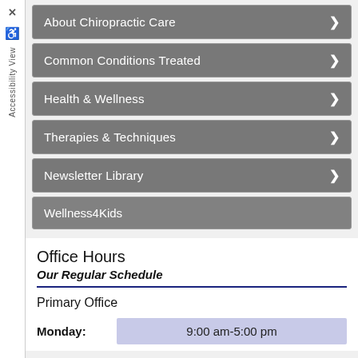About Chiropractic Care >
Common Conditions Treated >
Health & Wellness >
Therapies & Techniques >
Newsletter Library >
Wellness4Kids
Office Hours
Our Regular Schedule
Primary Office
Monday: 9:00 am-5:00 pm